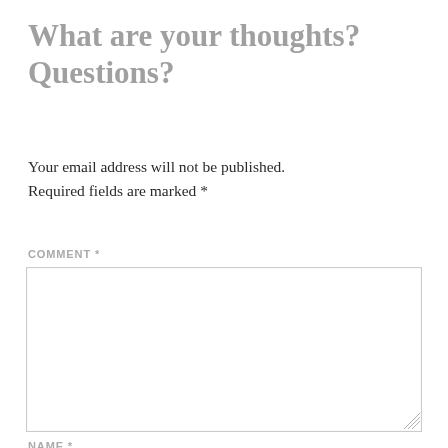What are your thoughts? Questions?
Your email address will not be published. Required fields are marked *
COMMENT *
[Figure (other): Empty comment textarea input field with resize handle]
NAME *